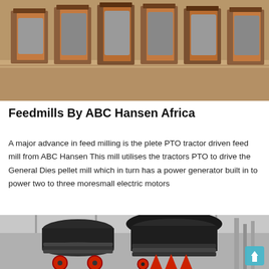[Figure (photo): Industrial workshop interior showing large metal frames or molds arranged in a row on a concrete floor, with wooden support structures.]
Feedmills By ABC Hansen Africa
A major advance in feed milling is the plete PTO tractor driven feed mill from ABC Hansen This mill utilises the tractors PTO to drive the General Dies pellet mill which in turn has a power generator built in to power two to three moresmall electric motors
[Figure (photo): Industrial feedmill machinery — large black cone crusher or pellet mill equipment with red wheel bases, positioned inside a metal-framed warehouse/factory building.]